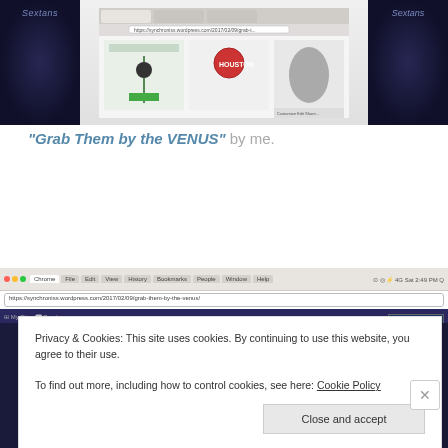[Figure (screenshot): Screenshot of a website showing 'Sextans' constellation imagery on left and right panels with browser content in the center showing images in the middle]
"Grab Them by the VENUS" by me.
[Figure (screenshot): Browser window screenshot showing a WordPress blog post with dark sidebar panels labeled 'Sextans' and article text about the New England Patriots vs Atlanta, with a cookie consent overlay dialog]
Privacy & Cookies: This site uses cookies. By continuing to use this website, you agree to their use.
To find out more, including how to control cookies, see here: Cookie Policy
Close and accept